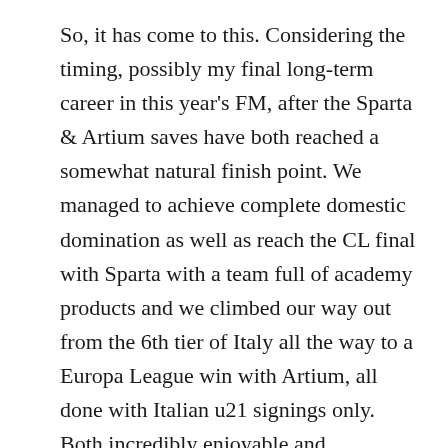So, it has come to this. Considering the timing, possibly my final long-term career in this year's FM, after the Sparta & Artium saves have both reached a somewhat natural finish point. We managed to achieve complete domestic domination as well as reach the CL final with Sparta with a team full of academy products and we climbed our way out from the 6th tier of Italy all the way to a Europa League win with Artium, all done with Italian u21 signings only. Both incredibly enjoyable and challenging, both clubs created from scratch in their respected nations.
So, as a somewhat tangible pattern emerges, and as I quickly get bored with traditional FM saves, I've decided there's only one thing I can do to